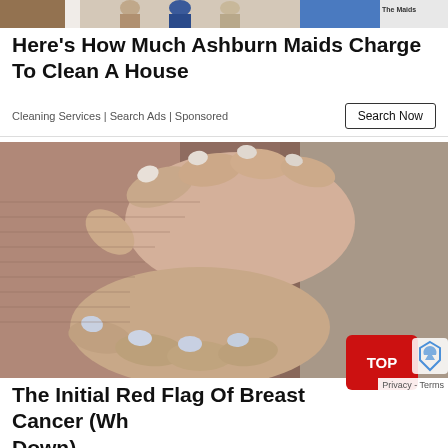[Figure (photo): Ad banner image showing maids/cleaning service workers at top of page with 'The Maids' logo visible]
Here's How Much Ashburn Maids Charge To Clean A House
Cleaning Services | Search Ads | Sponsored
Search Now
[Figure (photo): Close-up photo of hands with painted nails pressing on a ribbed mauve/pink fabric top, related to breast cancer awareness article]
TOP
Privacy - Terms
The Initial Red Flag Of Breast Cancer (Wh... Down)